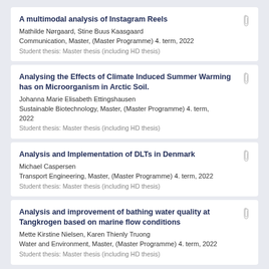A multimodal analysis of Instagram Reels
Mathilde Nørgaard, Stine Buus Kaasgaard
Communication, Master, (Master Programme) 4. term, 2022
Student thesis: Master thesis (including HD thesis)
Analysing the Effects of Climate Induced Summer Warming has on Microorganism in Arctic Soil.
Johanna Marie Elisabeth Ettingshausen
Sustainable Biotechnology, Master, (Master Programme) 4. term, 2022
Student thesis: Master thesis (including HD thesis)
Analysis and Implementation of DLTs in Denmark
Michael Caspersen
Transport Engineering, Master, (Master Programme) 4. term, 2022
Student thesis: Master thesis (including HD thesis)
Analysis and improvement of bathing water quality at Tangkrogen based on marine flow conditions
Mette Kirstine Nielsen, Karen Thienly Truong
Water and Environment, Master, (Master Programme) 4. term, 2022
Student thesis: Master thesis (including HD thesis)